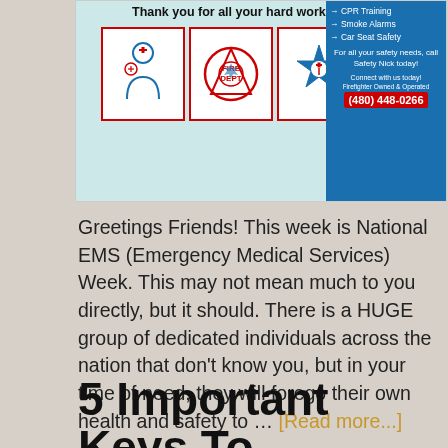[Figure (illustration): Advertisement banner showing medical/EMS icons (nurse, fire department logo, Star of Life) on a teal background with 'Thank you for all your hard work!' text, alongside a blue sidebar listing CPR Training, Smoke Alarms, Car Seat Safety services with phone number (480) 448-0266.]
Greetings Friends! This week is National EMS (Emergency Medical Services) Week. This may not mean much to you directly, but it should. There is a HUGE group of dedicated individuals across the nation that don't know you, but in your time of need, they will forego their own health and safety to … [Read more...]
5 Important Keys To Water Safety